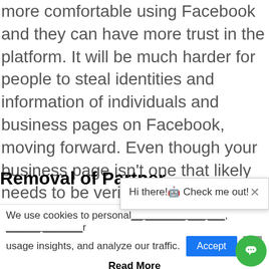more comfortable using Facebook and they can have more trust in the platform. It will be much harder for people to steal identities and information of individuals and business pages on Facebook, moving forward. Even though your business page isn't one that likely needs to be verified, you will still be able to benefit from these changes. This means Facebook will be keeping a closer eye on this across the board, and quicker to respond, should you have any issues.
Removal of Partner
We use cookies to personal... content and ads, gather customer usage insights, and analyze our traffic.
Hi there!🤖 Check me out!
Read More